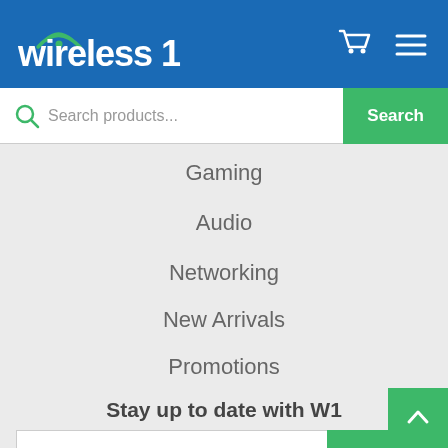wireless 1
Search products...
Gaming
Audio
Networking
New Arrivals
Promotions
Stay up to date with W1
Enter your email address
Sign Up